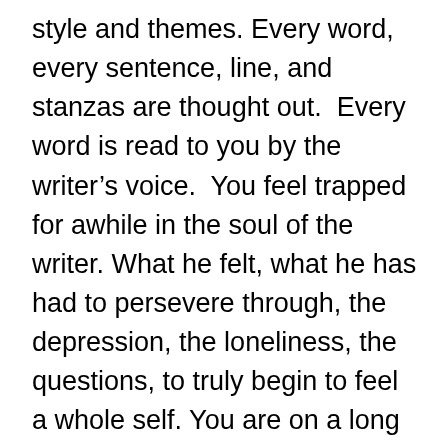style and themes. Every word, every sentence, line, and stanzas are thought out.  Every word is read to you by the writer's voice.  You feel trapped for awhile in the soul of the writer. What he felt, what he has had to persevere through, the depression, the loneliness, the questions, to truly begin to feel a whole self. You are on a long walk listening to the pouring rain in a cool Autumn month, You can do nothing but think.  This is the book.  All of those cold rain walks on your own, what does the thunder mean for me?  Is this the same thunder heard by others? Is it even raining